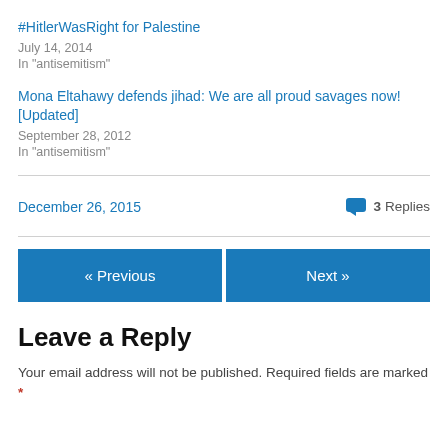#HitlerWasRight for Palestine
July 14, 2014
In "antisemitism"
Mona Eltahawy defends jihad: We are all proud savages now! [Updated]
September 28, 2012
In "antisemitism"
December 26, 2015   3 Replies
« Previous
Next »
Leave a Reply
Your email address will not be published. Required fields are marked *